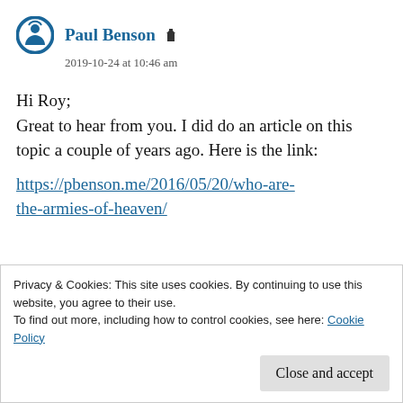Paul Benson
2019-10-24 at 10:46 am
Hi Roy;
Great to hear from you. I did do an article on this topic a couple of years ago. Here is the link:
https://pbenson.me/2016/05/20/who-are-the-armies-of-heaven/
Privacy & Cookies: This site uses cookies. By continuing to use this website, you agree to their use.
To find out more, including how to control cookies, see here: Cookie Policy
Close and accept